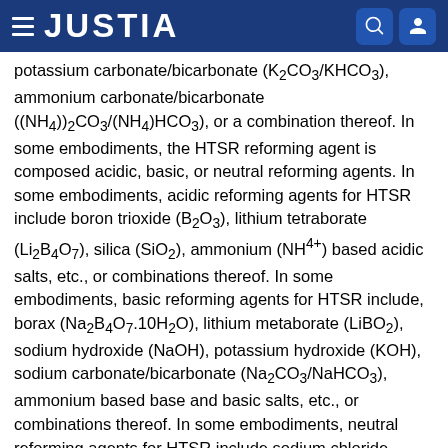JUSTIA
potassium carbonate/bicarbonate (K2CO3/KHCO3), ammonium carbonate/bicarbonate ((NH4))2CO3/(NH4)HCO3), or a combination thereof. In some embodiments, the HTSR reforming agent is composed acidic, basic, or neutral reforming agents. In some embodiments, acidic reforming agents for HTSR include boron trioxide (B2O3), lithium tetraborate (Li2B4O7), silica (SiO2), ammonium (NH4+) based acidic salts, etc., or combinations thereof. In some embodiments, basic reforming agents for HTSR include, borax (Na2B4O7.10H2O), lithium metaborate (LiBO2), sodium hydroxide (NaOH), potassium hydroxide (KOH), sodium carbonate/bicarbonate (Na2CO3/NaHCO3), ammonium based base and basic salts, etc., or combinations thereof. In some embodiments, neutral reforming agents for HTSR include sodium chloride